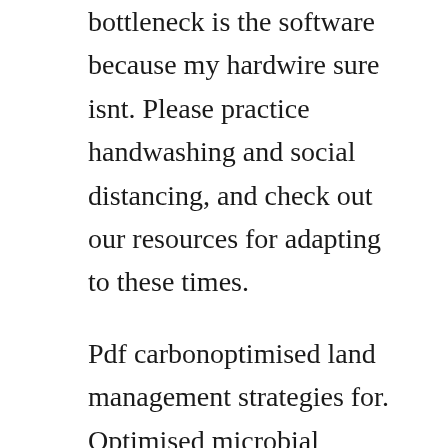bottleneck is the software because my hardware sure isnt. Please practice handwashing and social distancing, and check out our resources for adapting to these times.
Pdf carbonoptimised land management strategies for. Optimised microbial inoculants and in situ microbiome engineering article pdf available in biotechnology advances 376 march. Steam community guide geetees favourite morrowind mods. Download 3ds max 2010 64 bit trial version for free. This mod pack is highly recommended and a great starting point. Page 2 of 9 optimised distant